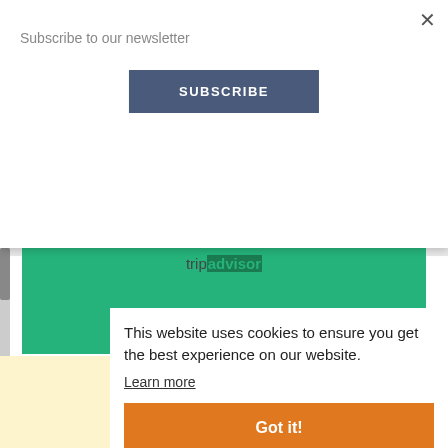Subscribe to our newsletter
SUBSCRIBE
[Figure (logo): TripAdvisor logo with owl icon and 'RECOMMENDED' text on green background]
This website uses cookies to ensure you get the best experience on our website.
Learn more
Got it!